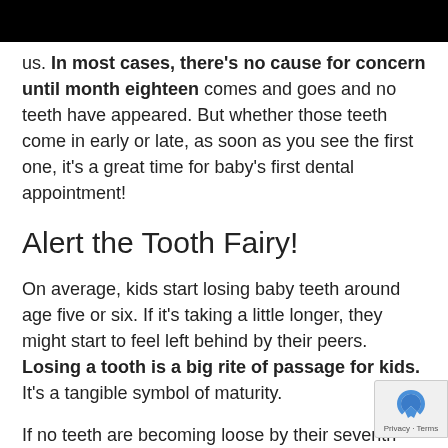us. In most cases, there's no cause for concern until month eighteen comes and goes and no teeth have appeared. But whether those teeth come in early or late, as soon as you see the first one, it's a great time for baby's first dental appointment!
Alert the Tooth Fairy!
On average, kids start losing baby teeth around age five or six. If it's taking a little longer, they might start to feel left behind by their peers. Losing a tooth is a big rite of passage for kids. It's a tangible symbol of maturity.
If no teeth are becoming loose by their seventh birthday, it could be time for the dentist to take to find out why. Most of the time, there's nothing to